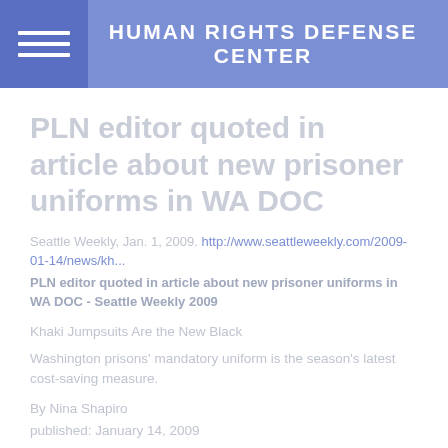HUMAN RIGHTS DEFENSE CENTER
PLN editor quoted in article about new prisoner uniforms in WA DOC
Seattle Weekly, Jan. 1, 2009. http://www.seattleweekly.com/2009-01-14/news/kh...
PLN editor quoted in article about new prisoner uniforms in WA DOC - Seattle Weekly 2009
Khaki Jumpsuits Are the New Black
Washington prisons' mandatory uniform is the season's latest cost-saving measure.
By Nina Shapiro
published: January 14, 2009